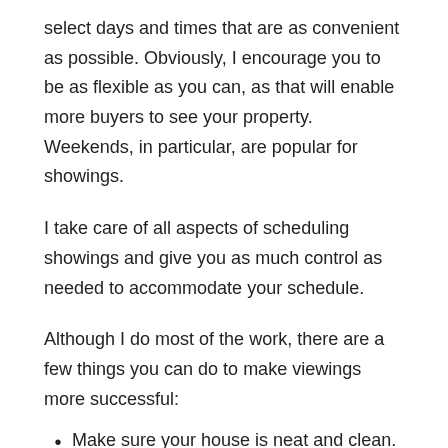select days and times that are as convenient as possible. Obviously, I encourage you to be as flexible as you can, as that will enable more buyers to see your property. Weekends, in particular, are popular for showings.
I take care of all aspects of scheduling showings and give you as much control as needed to accommodate your schedule.
Although I do most of the work, there are a few things you can do to make viewings more successful:
Make sure your house is neat and clean.
Declutter highly personal items as much as possible to make it easier for buyers to imagine